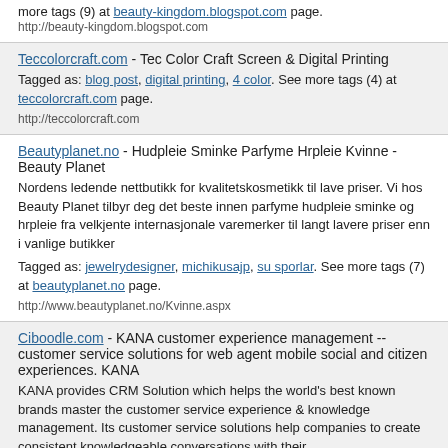more tags (9) at beauty-kingdom.blogspot.com page.
http://beauty-kingdom.blogspot.com
Teccolorcraft.com - Tec Color Craft Screen & Digital Printing
Tagged as: blog post, digital printing, 4 color. See more tags (4) at teccolorcraft.com page.
http://teccolorcraft.com
Beautyplanet.no - Hudpleie Sminke Parfyme Hrpleie Kvinne - Beauty Planet
Nordens ledende nettbutikk for kvalitetskosmetikk til lave priser. Vi hos Beauty Planet tilbyr deg det beste innen parfyme hudpleie sminke og hrpleie fra velkjente internasjonale varemerker til langt lavere priser enn i vanlige butikker
Tagged as: jewelrydesigner, michikusajp, su sporlar. See more tags (7) at beautyplanet.no page.
http://www.beautyplanet.no/Kvinne.aspx
Ciboodle.com - KANA customer experience management -- customer service solutions for web agent mobile social and citizen experiences. KANA
KANA provides CRM Solution which helps the world's best known brands master the customer service experience & knowledge management. Its customer service solutions help companies to create consistent knowledgeable conversations with their...
Tagged as: award winning, customer relationship management, contact center. See more tags (12) at ciboodle.com page.